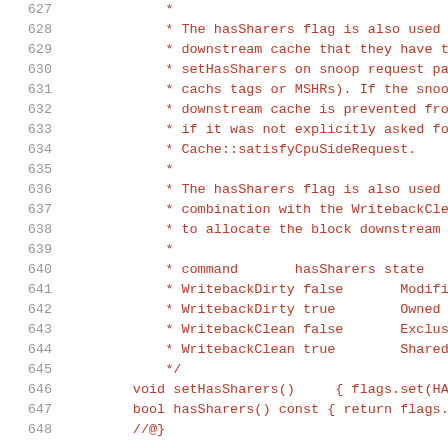Source code listing lines 627-648 showing C++ comment block and method definitions related to hasSharers flag and cache coherence states (Modified, Owned, Exclusive, Shared).